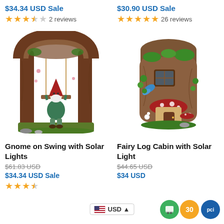$34.34 USD Sale
$30.90 USD Sale
★★★½☆ 2 reviews
★★★★★ 26 reviews
[Figure (photo): Gnome on Swing garden figurine inside a rustic wooden arch]
[Figure (photo): Fairy Log Cabin with mushroom and tree stump solar light figurine]
Gnome on Swing with Solar Lights
Fairy Log Cabin with Solar Light
$61.83 USD (strikethrough)
$44.65 USD (strikethrough)
$34.34 USD Sale
$34 USD Sale (partial)
USD currency selector